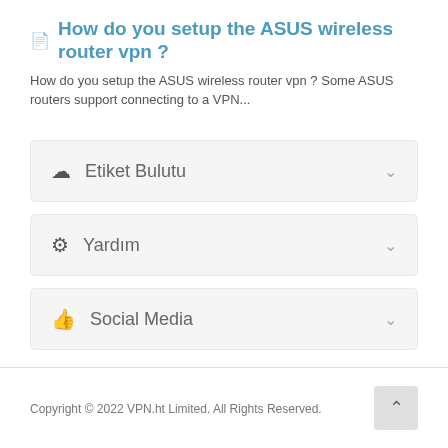How do you setup the ASUS wireless router vpn ?
How do you setup the ASUS wireless router vpn ? Some ASUS routers support connecting to a VPN...
Etiket Bulutu
Yardım
Social Media
Copyright © 2022 VPN.ht Limited. All Rights Reserved.